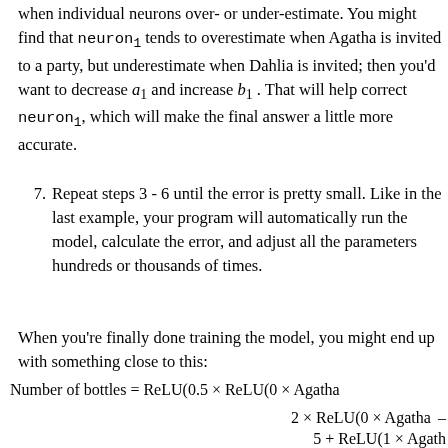when individual neurons over- or under-estimate. You might find that neuron₁ tends to overestimate when Agatha is invited to a party, but underestimate when Dahlia is invited; then you'd want to decrease a₁ and increase b₁. That will help correct neuron₁, which will make the final answer a little more accurate.
7. Repeat steps 3 - 6 until the error is pretty small. Like in the last example, your program will automatically run the model, calculate the error, and adjust all the parameters hundreds or thousands of times.
When you're finally done training the model, you might end up with something close to this: